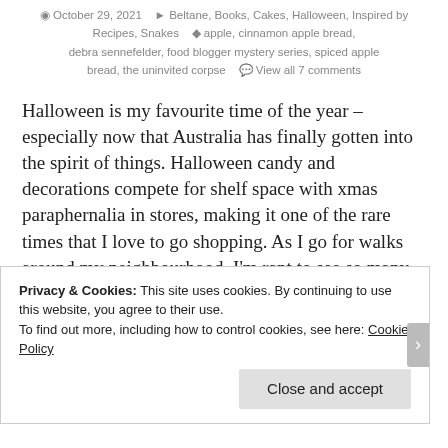October 29, 2021   Beltane, Books, Cakes, Halloween, Inspired by Recipes, Snakes   apple, cinnamon apple bread, debra sennefelder, food blogger mystery series, spiced apple bread, the uninvited corpse   View all 7 comments
Halloween is my favourite time of the year – especially now that Australia has finally gotten into the spirit of things. Halloween candy and decorations compete for shelf space with xmas paraphernalia in stores, making it one of the rare times that I love to go shopping. As I go for walks around my neighbourhood, I'm rapt to see so many houses proudly showcasing ghoulish
Privacy & Cookies: This site uses cookies. By continuing to use this website, you agree to their use.
To find out more, including how to control cookies, see here: Cookie Policy
Close and accept